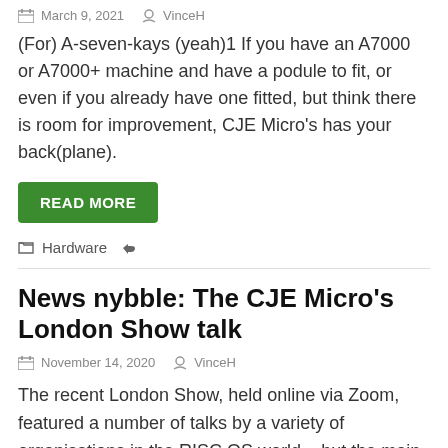March 9, 2021   VinceH
(For) A-seven-kays (yeah)1 If you have an A7000 or A7000+ machine and have a podule to fit, or even if you already have one fitted, but think there is room for improvement, CJE Micro's has your back(plane).
READ MORE
Hardware
News nybble: The CJE Micro's London Show talk
November 14, 2020   VinceH
The recent London Show, held online via Zoom, featured a number of talks by a variety of organisations in the RISC OS world – but the main schedule of presentations lacked one from CJE Micro's, even though Chris Evans does usually book a slot in the theatre for the shows he is able to attend. He did manage to give a brief talk after the scheduled talks – essentially after